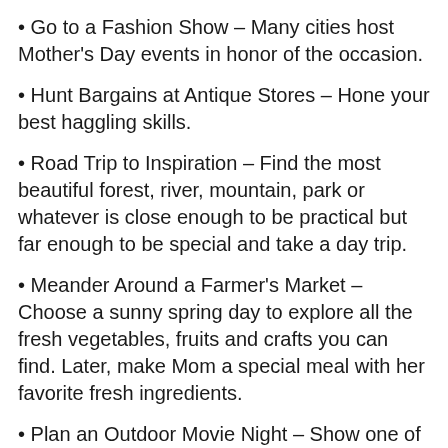Go to a Fashion Show – Many cities host Mother's Day events in honor of the occasion.
Hunt Bargains at Antique Stores – Hone your best haggling skills.
Road Trip to Inspiration – Find the most beautiful forest, river, mountain, park or whatever is close enough to be practical but far enough to be special and take a day trip.
Meander Around a Farmer's Market – Choose a sunny spring day to explore all the fresh vegetables, fruits and crafts you can find. Later, make Mom a special meal with her favorite fresh ingredients.
Plan an Outdoor Movie Night – Show one of Mom's favorite oldies on a movie projector under